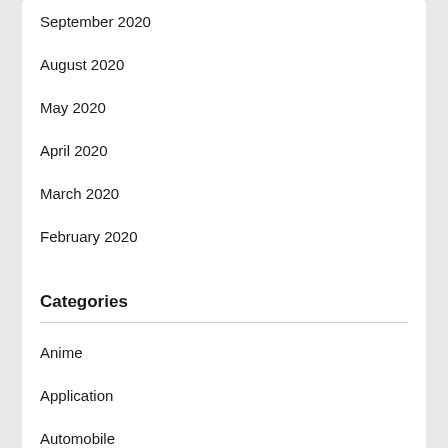September 2020
August 2020
May 2020
April 2020
March 2020
February 2020
January 2020
Categories
Anime
Application
Automobile